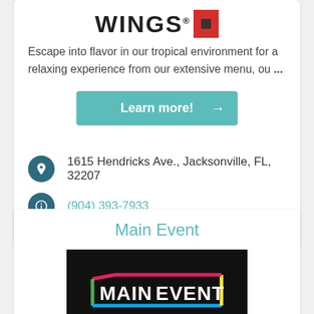[Figure (logo): WINGS logo with red square icon]
Escape into flavor in our tropical environment for a relaxing experience from our extensive menu, ou ...
Learn more! →
1615 Hendricks Ave., Jacksonville, FL, 32207
(904) 393-7933
Main Event
[Figure (logo): Main Event logo on black background]